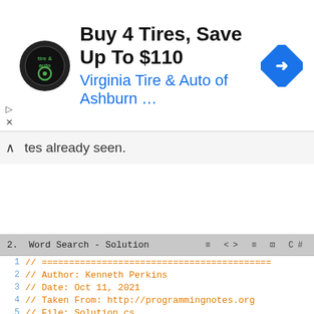[Figure (screenshot): Advertisement banner for Virginia Tire & Auto of Ashburn with logo and navigation icon. Text: 'Buy 4 Tires, Save Up To $110' and 'Virginia Tire & Auto of Ashburn ...']
tes already seen.
[Figure (screenshot): Code editor screenshot showing 'Word Search - Solution' with C# code. Lines 1-14 visible. Author: Kenneth Perkins, Date: Oct 11, 2021, Taken From: http://programmingnotes.org, File: Solution.cs, Description: Determines if a word can b... public class Solution { public bool Exist(char[][] board, string ... var rowsVisited = new bool[board.Leng ... for (int rowIndex = 0; rowIndex < boa...]